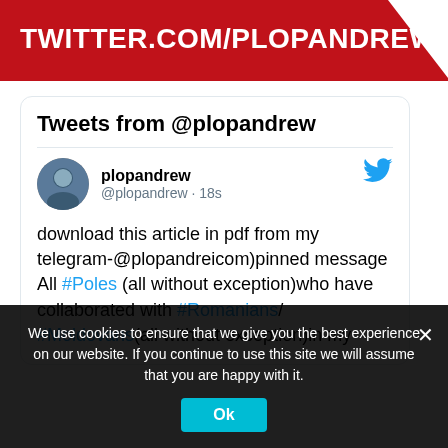TWITTER.COM/PLOPANDREW
Tweets from @plopandrew
plopandrew @plopandrew · 18s
download this article in pdf from my telegram-@plopandreicom)pinned message
All #Poles (all without exception)who have collaborated with #Romanians/#Moldovans(all without exception)in my
We use cookies to ensure that we give you the best experience on our website. If you continue to use this site we will assume that you are happy with it.